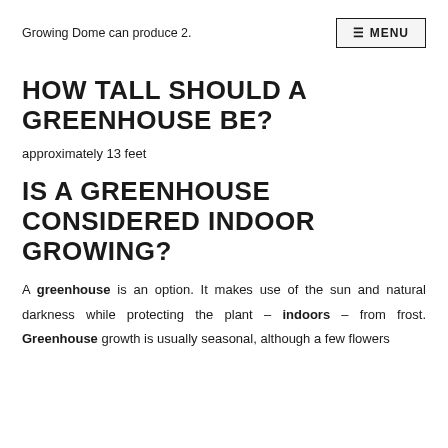Growing Dome can produce 2.
HOW TALL SHOULD A GREENHOUSE BE?
approximately 13 feet
IS A GREENHOUSE CONSIDERED INDOOR GROWING?
A greenhouse is an option. It makes use of the sun and natural darkness while protecting the plant – indoors – from frost. Greenhouse growth is usually seasonal, although a few flowers